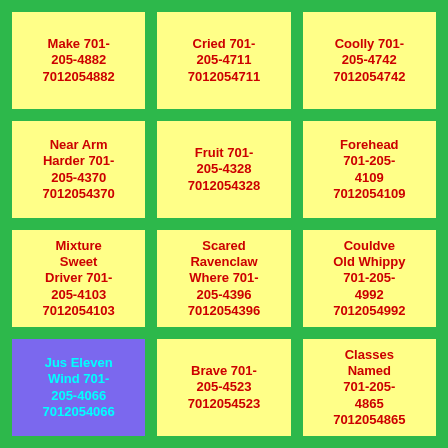Make 701-205-4882 7012054882
Cried 701-205-4711 7012054711
Coolly 701-205-4742 7012054742
Near Arm Harder 701-205-4370 7012054370
Fruit 701-205-4328 7012054328
Forehead 701-205-4109 7012054109
Mixture Sweet Driver 701-205-4103 7012054103
Scared Ravenclaw Where 701-205-4396 7012054396
Couldve Old Whippy 701-205-4992 7012054992
Jus Eleven Wind 701-205-4066 7012054066
Brave 701-205-4523 7012054523
Classes Named 701-205-4865 7012054865